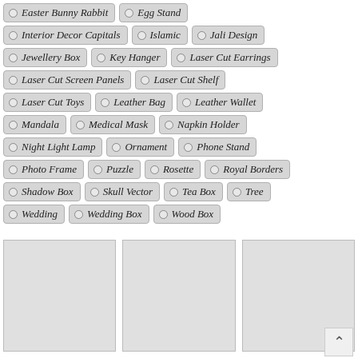Easter Bunny Rabbit
Egg Stand
Interior Decor Capitals
Islamic
Jali Design
Jewellery Box
Key Hanger
Laser Cut Earrings
Laser Cut Screen Panels
Laser Cut Shelf
Laser Cut Toys
Leather Bag
Leather Wallet
Mandala
Medical Mask
Napkin Holder
Night Light Lamp
Ornament
Phone Stand
Photo Frame
Puzzle
Rosette
Royal Borders
Shadow Box
Skull Vector
Tea Box
Tree
Wedding
Wedding Box
Wood Box
[Figure (photo): Three image placeholder boxes at the bottom of the page]
[Figure (other): Scroll-to-top button with upward chevron arrow]